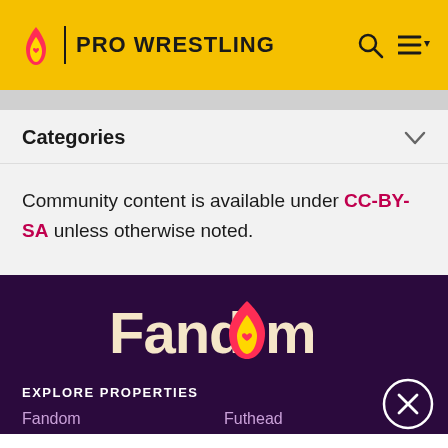PRO WRESTLING
Categories
Community content is available under CC-BY-SA unless otherwise noted.
[Figure (logo): Fandom logo with flame icon on dark purple background]
EXPLORE PROPERTIES
Fandom    Futhead